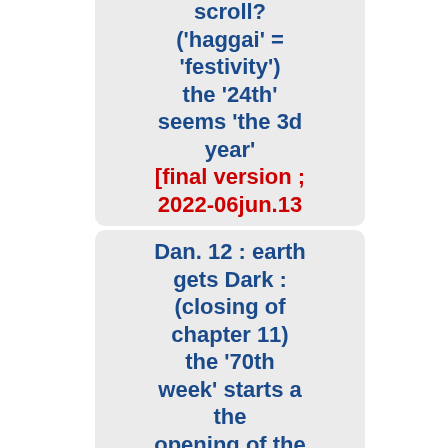scroll? ('haggai' = 'festivity') the '24th' seems 'the 3d year' [final version ; 2022-06jun.13
Dan. 12 : earth gets Dark : (closing of chapter 11) the '70th week' starts a the opening of the sealed scroll + mystery of lawlessness